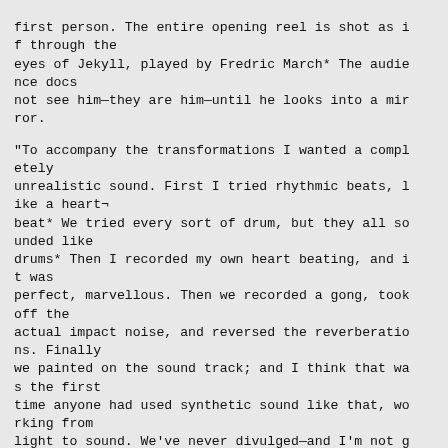first person. The entire opening reel is shot as if through the eyes of Jekyll, played by Fredric March* The audience docs not see him—they are him—until he looks into a mirror.

"To accompany the transformations I wanted a completely unrealistic sound. First I tried rhythmic beats, like a heart¬beat* We tried every sort of drum, but they all sounded like drums* Then I recorded my own heart beating, and it was perfect, marvellous. Then we recorded a gong, took off the actual impact noise, and reversed the reverberations. Finally we painted on the sound track; and I think that was the first time anyone had used synthetic sound like that, working from light to sound. We've never divulged—and I'm not going to